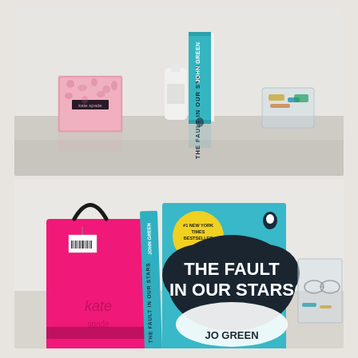[Figure (photo): A turquoise/teal book 'The Fault in Our Stars' by John Green standing upright on its spine on a white surface. To the left is a pink patterned box. Behind it is a white bottle and a clear glass container with jewelry. The setting is a dressing table or desk.]
[Figure (photo): The front cover of 'The Fault in Our Stars' by John Green (Penguin edition) showing the title in white text inside a dark cloud shape on a teal background, with a yellow circle badge reading '#1 New York Times Bestseller'. To the left is a bright pink Kate Spade shopping bag. To the right is a clear acrylic organizer.]